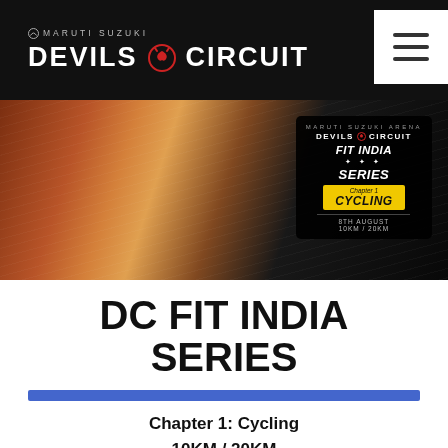MARUTI SUZUKI DEVILS CIRCUIT
[Figure (photo): Banner image showing cycling handlebars with dramatic lighting, overlaid with Devils Circuit Fit India Series Chapter 1 Cycling event promotional card showing 8th August, 10KM / 20KM]
DC FIT INDIA SERIES
[Figure (infographic): Blue horizontal bar divider]
Chapter 1: Cycling
10KM / 20KM
[Figure (photo): Black and white photo showing cyclists' feet on bicycle pedals]